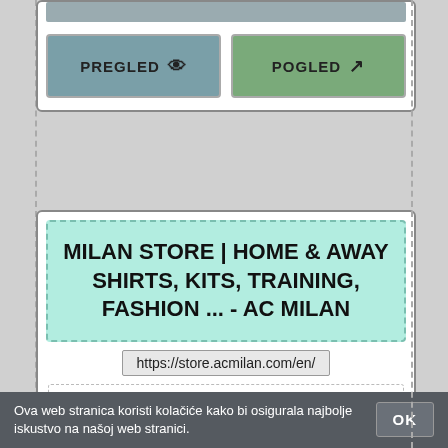[Figure (screenshot): Top UI card with a grey bar and two buttons: PREGLED (teal/grey) with eye icon and POGLED (green) with external link icon]
[Figure (screenshot): Search result card showing AC Milan Store title in mint green box, URL https://store.acmilan.com/en/, and a description snippet about buying AC Milan football shirts and merchandise]
MILAN STORE | HOME & AWAY SHIRTS, KITS, TRAINING, FASHION ... - AC MILAN
https://store.acmilan.com/en/
Buy AC Milan football shirts and merchandise from the Official AC Milan Online Store. Replica kits, fashion, homeware, gadgets, covers and much more.
Ova web stranica koristi kolačiće kako bi osigurala najbolje iskustvo na našoj web stranici.